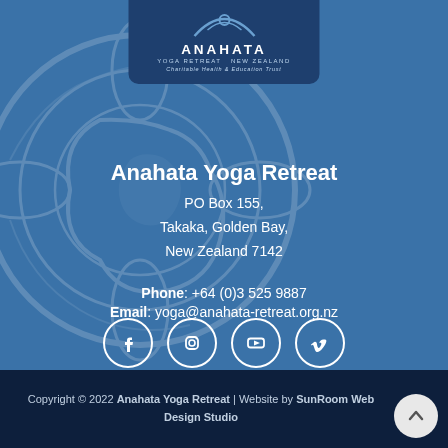[Figure (logo): Anahata Yoga Retreat New Zealand logo with arc symbol, dark blue background, text: ANAHATA YOGA RETREAT NEW ZEALAND Charitable Health & Education Trust]
Anahata Yoga Retreat
PO Box 155, Takaka, Golden Bay, New Zealand 7142
Phone: +64 (0)3 525 9887
Email: yoga@anahata-retreat.org.nz
[Figure (other): Social media icons: Facebook, Instagram, YouTube, Vimeo — white circles on blue background]
Copyright © 2022 Anahata Yoga Retreat | Website by SunRoom Web Design Studio